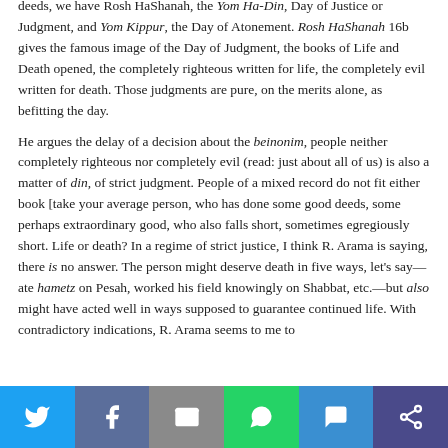deeds, we have Rosh HaShanah, the Yom Ha-Din, Day of Justice or Judgment, and Yom Kippur, the Day of Atonement. Rosh HaShanah 16b gives the famous image of the Day of Judgment, the books of Life and Death opened, the completely righteous written for life, the completely evil written for death. Those judgments are pure, on the merits alone, as befitting the day.
He argues the delay of a decision about the beinonim, people neither completely righteous nor completely evil (read: just about all of us) is also a matter of din, of strict judgment. People of a mixed record do not fit either book [take your average person, who has done some good deeds, some perhaps extraordinary good, who also falls short, sometimes egregiously short. Life or death? In a regime of strict justice, I think R. Arama is saying, there is no answer. The person might deserve death in five ways, let's say—ate hametz on Pesah, worked his field knowingly on Shabbat, etc.—but also might have acted well in ways supposed to guarantee continued life. With contradictory indications, R. Arama seems to me to
[Figure (infographic): Social sharing bar with buttons for Twitter, Facebook, Email, WhatsApp, SMS, and More — icons on colored backgrounds]